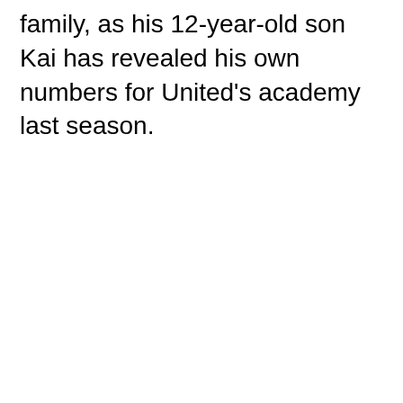family, as his 12-year-old son Kai has revealed his own numbers for United's academy last season.